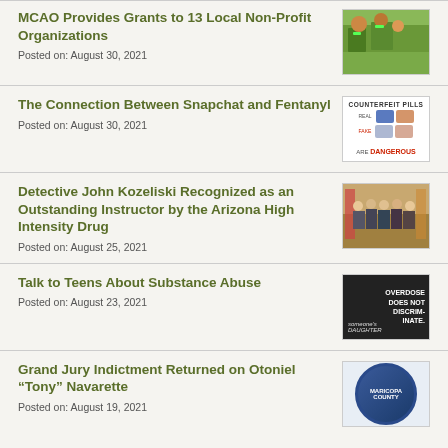MCAO Provides Grants to 13 Local Non-Profit Organizations
Posted on: August 30, 2021
[Figure (photo): Children in a classroom setting]
The Connection Between Snapchat and Fentanyl
Posted on: August 30, 2021
[Figure (photo): Counterfeit Pills infographic: COUNTERFEIT PILLS, REAL vs FAKE pills shown, ARE DANGEROUS]
Detective John Kozeliski Recognized as an Outstanding Instructor by the Arizona High Intensity Drug
Posted on: August 25, 2021
[Figure (photo): Group of people standing in front of American and Arizona flags]
Talk to Teens About Substance Abuse
Posted on: August 23, 2021
[Figure (photo): Overdose Does Not Discriminate campaign image with someone's daughter text]
Grand Jury Indictment Returned on Otoniel “Tony” Navarette
Posted on: August 19, 2021
[Figure (logo): Maricopa County seal/badge circular logo]